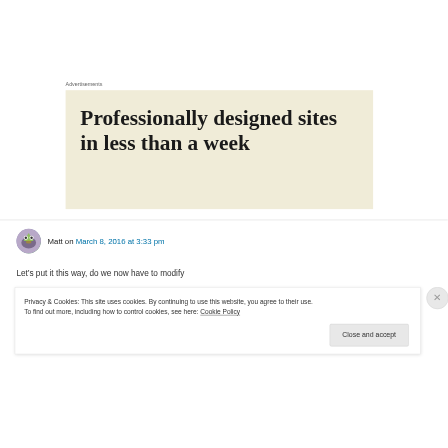Advertisements
[Figure (screenshot): Advertisement banner with beige/cream background showing text 'Professionally designed sites in less than a week']
Matt on March 8, 2016 at 3:33 pm
Let's put it this way, do we now have to modify
Privacy & Cookies: This site uses cookies. By continuing to use this website, you agree to their use.
To find out more, including how to control cookies, see here: Cookie Policy
Close and accept